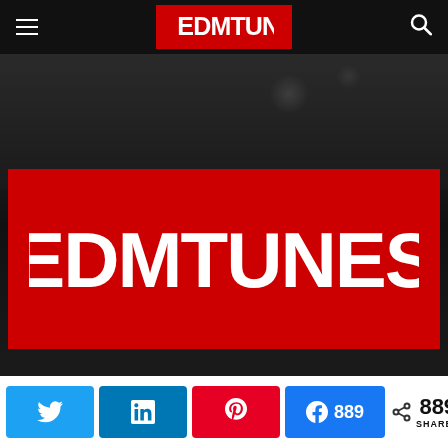EDMTUNES
[Figure (screenshot): EDMtunes website screenshot showing dark background with bokeh lights and a large red EDMtunes logo block in the center]
ABOUT US
[Figure (infographic): Social share bar with Twitter, LinkedIn, Pinterest, Facebook (889) buttons and total 889 SHARES counter]